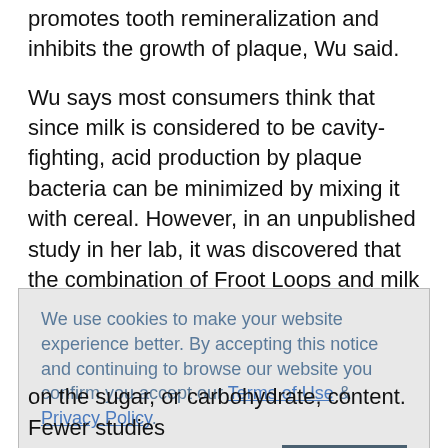promotes tooth remineralization and inhibits the growth of plaque, Wu said.
Wu says most consumers think that since milk is considered to be cavity-fighting, acid production by plaque bacteria can be minimized by mixing it with cereal. However, in an unpublished study in her lab, it was discovered that the combination of Froot Loops and milk became syrupy. Eating cereal combined with milk lowered plaque pH to levels similar to that obtained after rinsing with a 10 percent sugar solution.
We use cookies to make your website experience better. By accepting this notice and continuing to browse our website you confirm you accept our Terms of Use & Privacy Policy.

read more >>

I Accept
on the sugar, or carbohydrate, content. Fewer studies